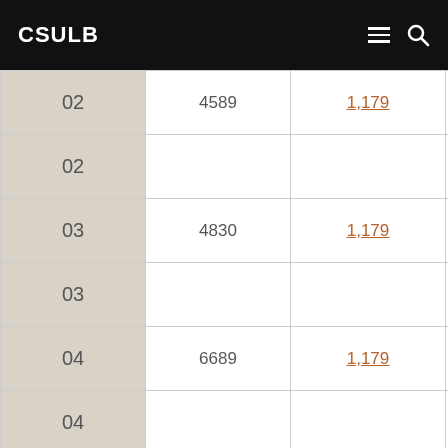CSULB
|  | Code | Link | L |
| --- | --- | --- | --- |
| 02 | 4589 | 1,179 | L |
| 02 |  |  |  |
| 03 | 4830 | 1,179 | L |
| 03 |  |  |  |
| 04 | 6689 | 1,179 | L |
| 04 |  |  |  |